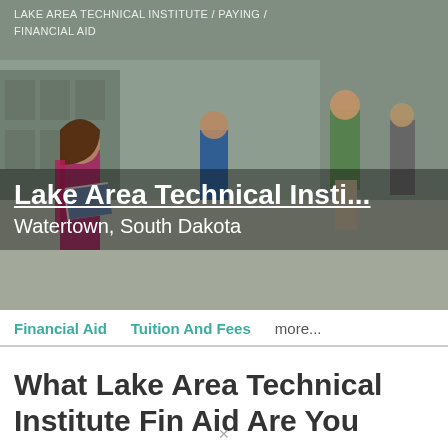LAKE AREA TECHNICAL INSTITUTE / PAYING / FINANCIAL AID
[Figure (photo): College campus scene with students walking outdoors, overlaid with hero text block showing institution name and location]
Lake Area Technical Insti... Watertown, South Dakota
Financial Aid    Tuition And Fees    more...
What Lake Area Technical Institute Fin Aid Are You